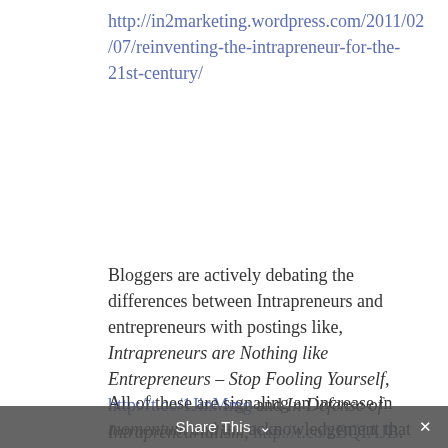http://in2marketing.wordpress.com/2011/02/07/reinventing-the-intrapreneur-for-the-21st-century/
Bloggers are actively debating the differences between Intrapreneurs and entrepreneurs with postings like, Intrapreneurs are Nothing like Entrepreneurs – Stop Fooling Yourself, http://t.co/1JinMmg and In Defense of Intrapreneurialism, http://t.co/zBQIAJB.
All of these are signaling an increase in momentum and the acknowledgement that corporate entrepreneurship – is a viable and
Share This